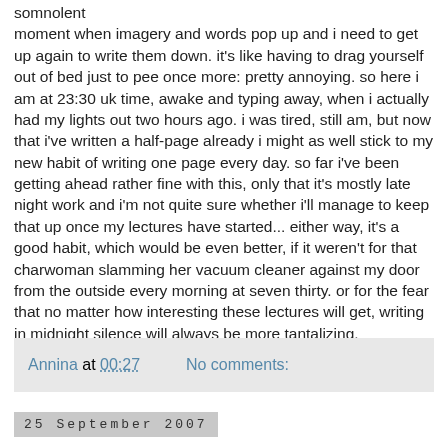somnolent moment when imagery and words pop up and i need to get up again to write them down. it's like having to drag yourself out of bed just to pee once more: pretty annoying. so here i am at 23:30 uk time, awake and typing away, when i actually had my lights out two hours ago. i was tired, still am, but now that i've written a half-page already i might as well stick to my new habit of writing one page every day. so far i've been getting ahead rather fine with this, only that it's mostly late night work and i'm not quite sure whether i'll manage to keep that up once my lectures have started... either way, it's a good habit, which would be even better, if it weren't for that charwoman slamming her vacuum cleaner against my door from the outside every morning at seven thirty. or for the fear that no matter how interesting these lectures will get, writing in midnight silence will always be more tantalizing.
Annina at 00:27    No comments:
25 September 2007